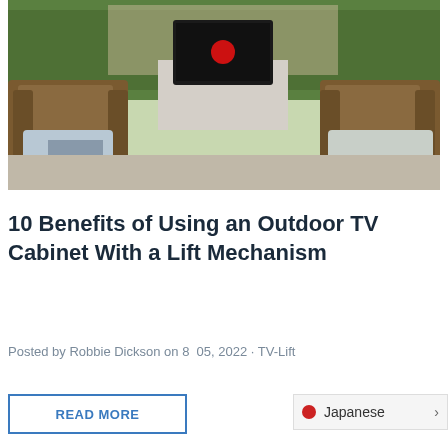[Figure (photo): Outdoor patio scene with two wicker chairs and a TV mounted on a stand in a backyard setting]
10 Benefits of Using an Outdoor TV Cabinet With a Lift Mechanism
Posted by Robbie Dickson on 8  05, 2022 · TV-Lift
READ MORE
Japanese >